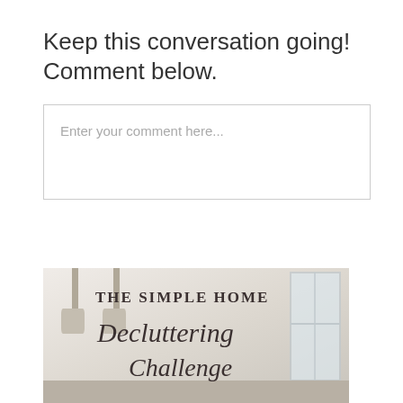Keep this conversation going! Comment below.
Enter your comment here...
[Figure (illustration): Promotional image for 'The Simple Home Decluttering Challenge' with script lettering overlaid on a light, airy kitchen background with pendant lights and a window.]